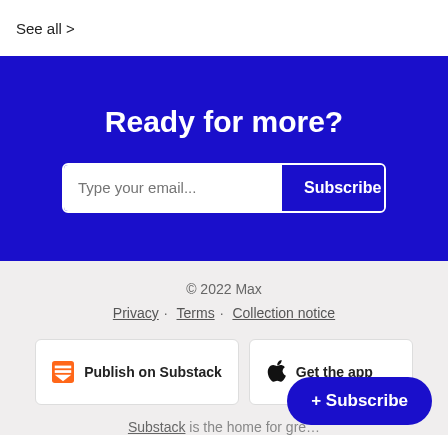See all >
Ready for more?
Type your email... Subscribe
© 2022 Max
Privacy · Terms · Collection notice
Publish on Substack
Get the app
Substack is the home for gre…
+ Subscribe